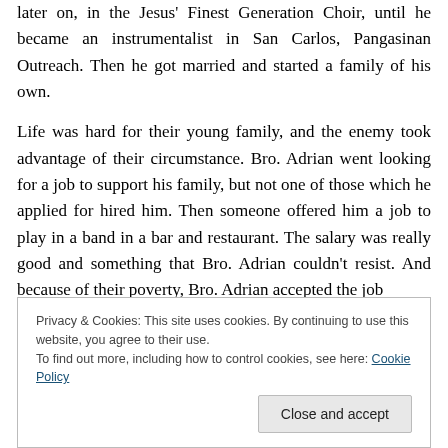later on, in the Jesus' Finest Generation Choir, until he became an instrumentalist in San Carlos, Pangasinan Outreach. Then he got married and started a family of his own.
Life was hard for their young family, and the enemy took advantage of their circumstance. Bro. Adrian went looking for a job to support his family, but not one of those which he applied for hired him. Then someone offered him a job to play in a band in a bar and restaurant. The salary was really good and something that Bro. Adrian couldn't resist. And because of their poverty, Bro. Adrian accepted the job
Privacy & Cookies: This site uses cookies. By continuing to use this website, you agree to their use. To find out more, including how to control cookies, see here: Cookie Policy
Close and accept